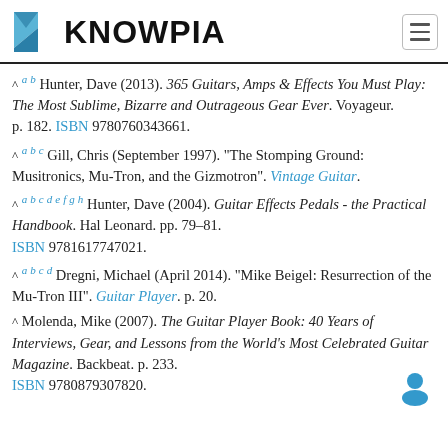KNOWPIA
^ a b Hunter, Dave (2013). 365 Guitars, Amps & Effects You Must Play: The Most Sublime, Bizarre and Outrageous Gear Ever. Voyageur. p. 182. ISBN 9780760343661.
^ a b c Gill, Chris (September 1997). "The Stomping Ground: Musitronics, Mu-Tron, and the Gizmotron". Vintage Guitar.
^ a b c d e f g h Hunter, Dave (2004). Guitar Effects Pedals - the Practical Handbook. Hal Leonard. pp. 79–81. ISBN 9781617747021.
^ a b c d Dregni, Michael (April 2014). "Mike Beigel: Resurrection of the Mu-Tron III". Guitar Player. p. 20.
^ Molenda, Mike (2007). The Guitar Player Book: 40 Years of Interviews, Gear, and Lessons from the World's Most Celebrated Guitar Magazine. Backbeat. p. 233. ISBN 9780879307820.